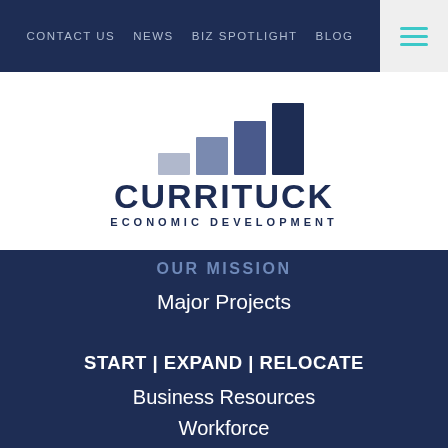CONTACT US  NEWS  BIZ SPOTLIGHT  BLOG
[Figure (logo): Currituck Economic Development logo with ascending bar chart graphic above text]
OUR MISSION
Major Projects
START | EXPAND | RELOCATE
Business Resources
Workforce
Taxes
Incentives